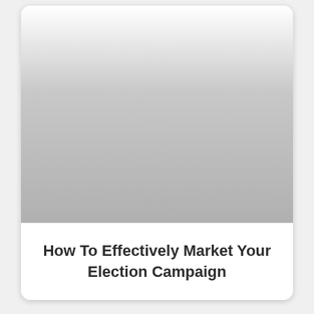[Figure (photo): A photograph occupying the upper portion of a card layout, faded to a light gray gradient suggesting a partially visible or blurred image.]
How To Effectively Market Your Election Campaign